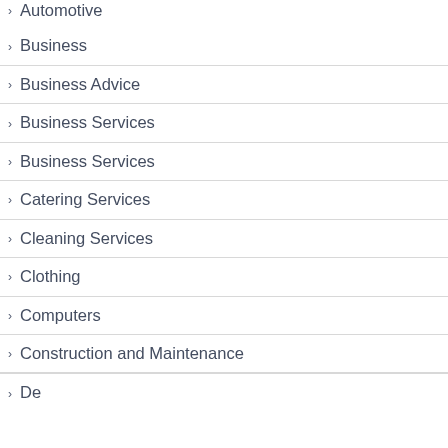Automotive
Business
Business Advice
Business Services
Business Services
Catering Services
Cleaning Services
Clothing
Computers
Construction and Maintenance
Design